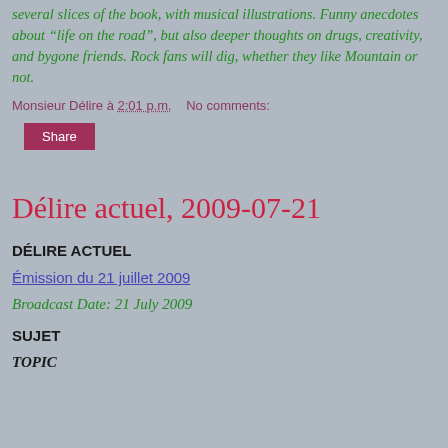several slices of the book, with musical illustrations. Funny anecdotes about "life on the road", but also deeper thoughts on drugs, creativity, and bygone friends. Rock fans will dig, whether they like Mountain or not.
Monsieur Délire à 2:01 p.m.   No comments:
Share
Délire actuel, 2009-07-21
DÉLIRE ACTUEL
Émission du 21 juillet 2009
Broadcast Date: 21 July 2009
SUJET
TOPIC